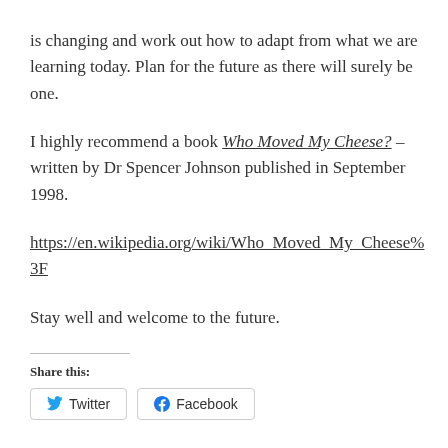is changing and work out how to adapt from what we are learning today. Plan for the future as there will surely be one.
I highly recommend a book Who Moved My Cheese? – written by Dr Spencer Johnson published in September 1998.
https://en.wikipedia.org/wiki/Who_Moved_My_Cheese%3F
Stay well and welcome to the future.
Share this:
Twitter  Facebook